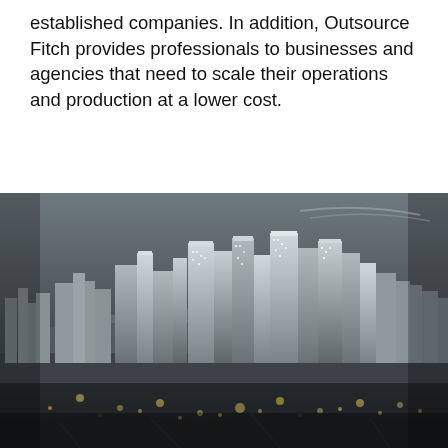established companies. In addition, Outsource Fitch provides professionals to businesses and agencies that need to scale their operations and production at a lower cost.
[Figure (photo): Black and white aerial/elevated panoramic photograph of a dense urban cityscape at night or dusk, showing numerous skyscrapers and city buildings with lights, resembling a Southeast Asian city skyline (likely Manila, Philippines).]